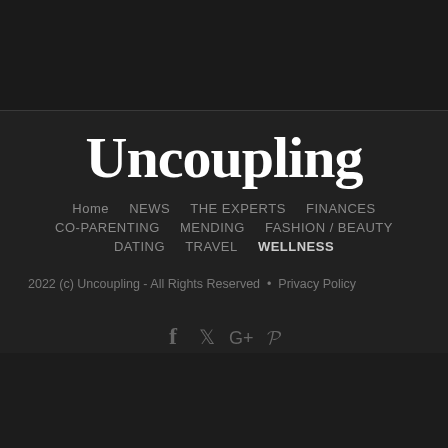[Figure (logo): Top dark section / header area background]
Uncoupling
Home  NEWS  THE EXPERTS  FINANCES  CO-PARENTING  MENDING  FASHION / BEAUTY  DATING  TRAVEL  WELLNESS
2022 (c) Uncoupling - All Rights Reserved  •  Privacy Policy
[Figure (other): Social media icons: Facebook, Twitter, Google+, Pinterest]